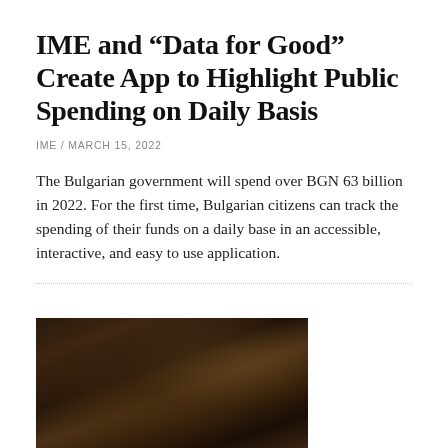IME and “Data for Good” Create App to Highlight Public Spending on Daily Basis
IME / MARCH 15, 2022
The Bulgarian government will spend over BGN 63 billion in 2022. For the first time, Bulgarian citizens can track the spending of their funds on a daily base in an accessible, interactive, and easy to use application.
[Figure (photo): Dark oil painting-style image depicting a crowd of people in a dimly lit interior scene, reminiscent of a classical European painting.]